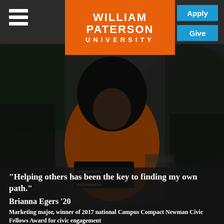William Paterson University
[Figure (photo): Young woman wearing an orange William Paterson University Student Government t-shirt, photographed outdoors with trees in background, image is partially desaturated/dark]
"Helping others has been the key to finding my own path."
Brianna Egers '20
Marketing major, winner of 2017 national Campus Compact Newman Civic Fellows Award for civic engagement